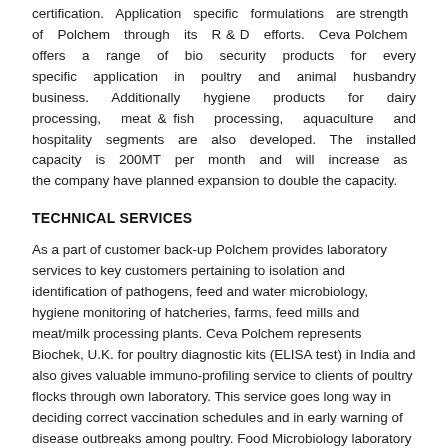certification. Application specific formulations are strength of Polchem through its R & D efforts. Ceva Polchem offers a range of bio security products for every specific application in poultry and animal husbandry business. Additionally hygiene products for dairy processing, meat & fish processing, aquaculture and hospitality segments are also developed. The installed capacity is 200MT per month and will increase as the company have planned expansion to double the capacity.
TECHNICAL SERVICES
As a part of customer back-up Polchem provides laboratory services to key customers pertaining to isolation and identification of pathogens, feed and water microbiology, hygiene monitoring of hatcheries, farms, feed mills and meat/milk processing plants. Ceva Polchem represents Biochek, U.K. for poultry diagnostic kits (ELISA test) in India and also gives valuable immuno-profiling service to clients of poultry flocks through own laboratory. This service goes long way in deciding correct vaccination schedules and in early warning of disease outbreaks among poultry. Food Microbiology laboratory of Polchem has acquired ISO/IEC